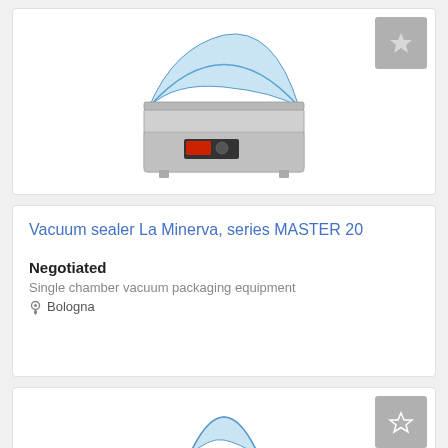[Figure (photo): Vacuum sealer machine La Minerva series - tabletop model with open blue transparent lid, stainless steel body, shown from slight angle above]
Vacuum sealer La Minerva, series MASTER 20
Negotiated
Single chamber vacuum packaging equipment
Bologna
[Figure (photo): Vacuum sealer machine - floor-standing model with open blue transparent lid, stainless steel tall body with display panel, shown from slight angle]